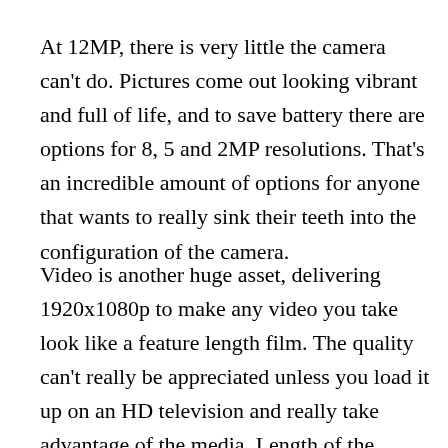At 12MP, there is very little the camera can't do. Pictures come out looking vibrant and full of life, and to save battery there are options for 8, 5 and 2MP resolutions. That's an incredible amount of options for anyone that wants to really sink their teeth into the configuration of the camera.
Video is another huge asset, delivering 1920x1080p to make any video you take look like a feature length film. The quality can't really be appreciated unless you load it up on an HD television and really take advantage of the media. Length of the